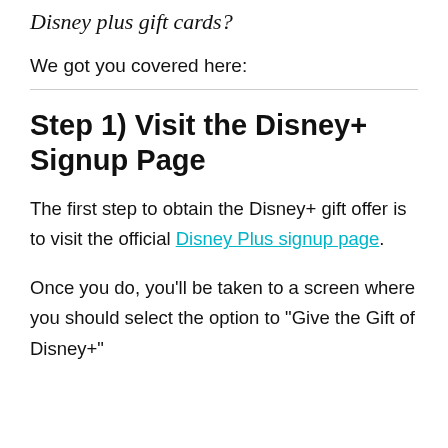Disney plus gift cards?
We got you covered here:
Step 1) Visit the Disney+ Signup Page
The first step to obtain the Disney+ gift offer is to visit the official Disney Plus signup page.
Once you do, you'll be taken to a screen where you should select the option to "Give the Gift of Disney+"